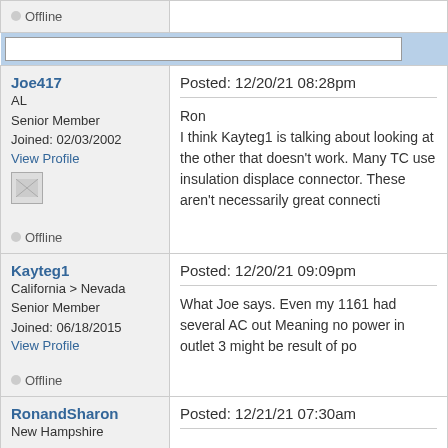Offline
Joe417 — AL, Senior Member, Joined: 02/03/2002, View Profile
Posted: 12/20/21 08:28pm
Ron
I think Kayteg1 is talking about looking at the other side if that doesn't work. Many TC use insulation displacement connector. These aren't necessarily great connecti...
Offline
Kayteg1 — California > Nevada, Senior Member, Joined: 06/18/2015, View Profile
Posted: 12/20/21 09:09pm
What Joe says. Even my 1161 had several AC out... Meaning no power in outlet 3 might be result of po...
Offline
RonandSharon — New Hampshire
Posted: 12/21/21 07:30am